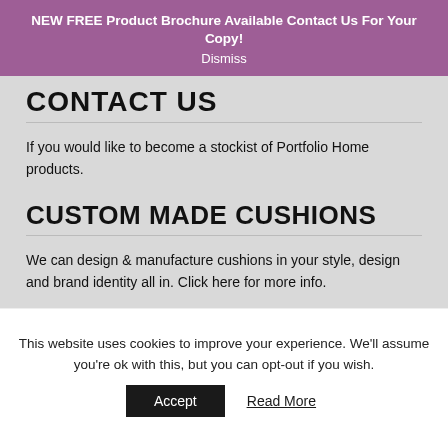NEW FREE Product Brochure Available Contact Us For Your Copy!
Dismiss
CONTACT US
If you would like to become a stockist of Portfolio Home products.
CUSTOM MADE CUSHIONS
We can design & manufacture cushions in your style, design and brand identity all in. Click here for more info.
This website uses cookies to improve your experience. We'll assume you're ok with this, but you can opt-out if you wish.
Accept   Read More